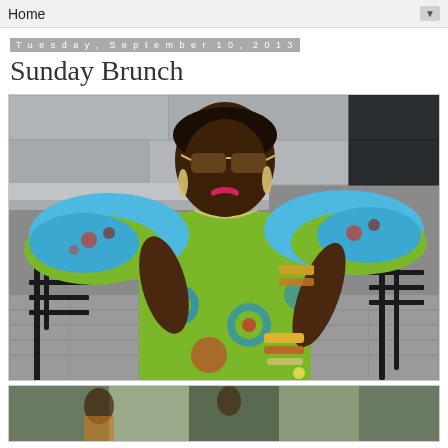Home ▼
Tuesday, September 10, 2013
Sunday Brunch
[Figure (photo): A woman wearing colorful African print off-shoulder dress with blue sequin details, sitting on a black chair outdoors. She wears sunglasses, gold jewelry including bracelets and earrings, and has a short hairstyle. Background shows stone pavement and concrete walls.]
[Figure (photo): Partial view of another photo at the bottom of the page, showing similar outdoor setting.]